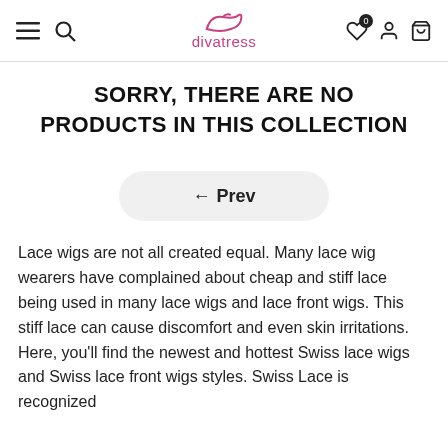divatress
SORRY, THERE ARE NO PRODUCTS IN THIS COLLECTION
← Prev
Lace wigs are not all created equal. Many lace wig wearers have complained about cheap and stiff lace being used in many lace wigs and lace front wigs. This stiff lace can cause discomfort and even skin irritations. Here, you'll find the newest and hottest Swiss lace wigs and Swiss lace front wigs styles. Swiss Lace is recognized